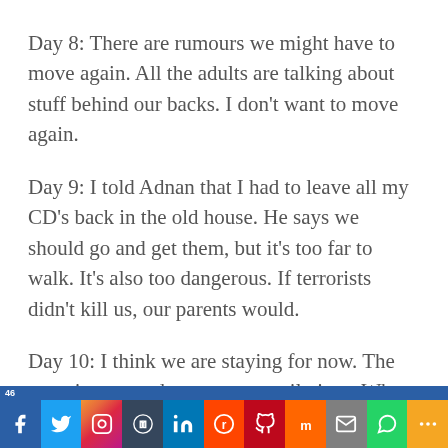Day 8: There are rumours we might have to move again. All the adults are talking about stuff behind our backs. I don't want to move again.
Day 9: I told Adnan that I had to leave all my CD's back in the old house. He says we should go and get them, but it's too far to walk. It's also too dangerous. If terrorists didn't kill us, our parents would.
Day 10: I think we are staying for now. The terrorists moved east to some oil pipes. Why can't someone just give…
46 | Social share bar with Facebook, Twitter, Instagram, Tumblr, LinkedIn, Reddit, Pinterest, Mix, Email, WhatsApp, More